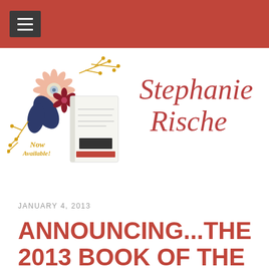[Figure (logo): Website logo: a book with floral decorations (pink daisy, dark blue leaves, yellow sprigs) and text 'Now Available!' below]
[Figure (logo): Stephanie Rische cursive script site name in terracotta/rust color]
JANUARY 4, 2013
ANNOUNCING...THE 2013 BOOK OF THE